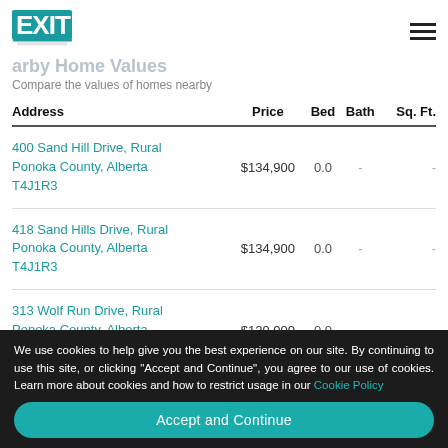EXIT Realty logo and navigation
Nearby Home Values
Compare the values of homes nearby
| Address | Price | Bed | Bath | Sq. Ft. |
| --- | --- | --- | --- | --- |
| 400 Sand Hill Drive, Rural Ponoka County, Alberta T4J1R3 | $134,900 | 0.0 | - | - |
| 418 Sand Hills Drive, Rural Ponoka County, Alberta T4J1R3 | $134,900 | 0.0 | - | - |
| 313 Wolf Run Drive, Rural Ponoka County, Alberta T4J1R3 | $129,000 | 0.0 | - | - |
We use cookies to help give you the best experience on our site. By continuing to use this site, or clicking "Accept and Continue", you agree to our use of cookies. Learn more about cookies and how to restrict usage in our Cookie Policy